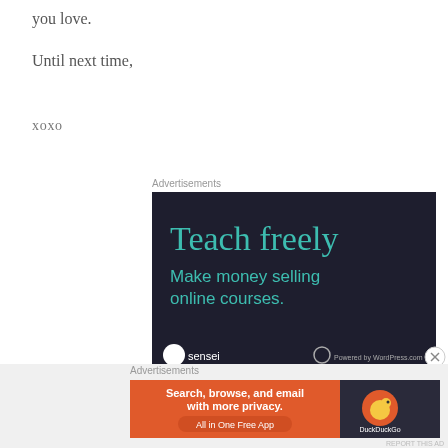you love.
Until next time,
xoxo
Advertisements
[Figure (illustration): Dark navy advertisement for Sensei plugin: 'Teach freely — Make money selling online courses.' with Sensei logo and Powered by WordPress.com branding at bottom.]
Advertisements
[Figure (illustration): DuckDuckGo advertisement: orange panel with text 'Search, browse, and email with more privacy. All in One Free App' and dark panel with DuckDuckGo duck logo.]